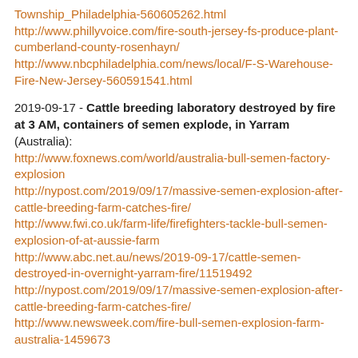Township_Philadelphia-560605262.html
http://www.phillyvoice.com/fire-south-jersey-fs-produce-plant-cumberland-county-rosenhayn/
http://www.nbcphiladelphia.com/news/local/F-S-Warehouse-Fire-New-Jersey-560591541.html
2019-09-17 - Cattle breeding laboratory destroyed by fire at 3 AM, containers of semen explode, in Yarram (Australia):
http://www.foxnews.com/world/australia-bull-semen-factory-explosion
http://nypost.com/2019/09/17/massive-semen-explosion-after-cattle-breeding-farm-catches-fire/
http://www.fwi.co.uk/farm-life/firefighters-tackle-bull-semen-explosion-of-at-aussie-farm
http://www.abc.net.au/news/2019-09-17/cattle-semen-destroyed-in-overnight-yarram-fire/11519492
http://nypost.com/2019/09/17/massive-semen-explosion-after-cattle-breeding-farm-catches-fire/
http://www.newsweek.com/fire-bull-semen-explosion-farm-australia-1459673